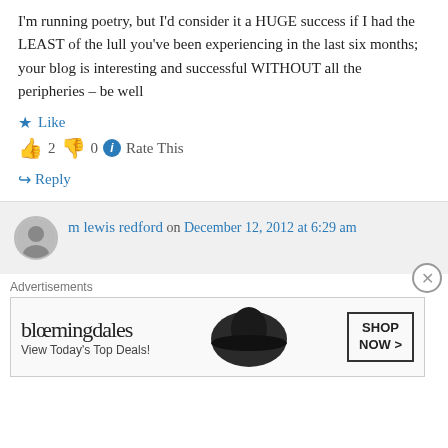I'm running poetry, but I'd consider it a HUGE success if I had the LEAST of the lull you've been experiencing in the last six months; your blog is interesting and successful WITHOUT all the peripheries – be well
★ Like
👍 2 👎 0 ℹ Rate This
↳ Reply
m lewis redford on December 12, 2012 at 6:29 am
Advertisements
[Figure (other): Bloomingdale's advertisement banner with hat image and 'SHOP NOW >' button, 'View Today's Top Deals!' tagline]